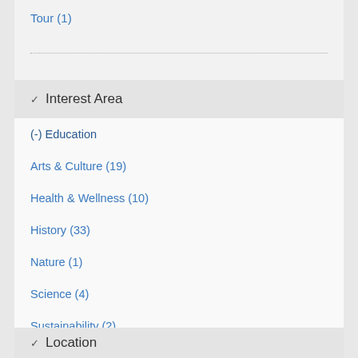Tour (1)
Interest Area
(-) Education
Arts & Culture (19)
Health & Wellness (10)
History (33)
Nature (1)
Science (4)
Sustainability (2)
Workforce Development (1)
Location